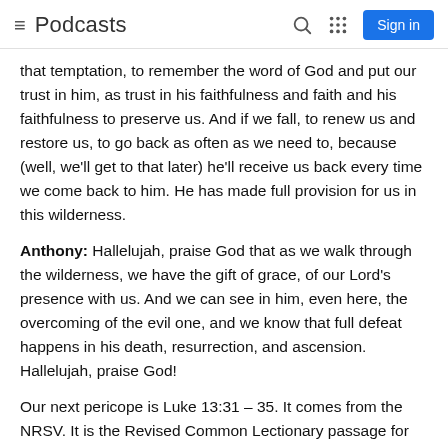≡ Podcasts  🔍  ⠿  Sign in
that temptation, to remember the word of God and put our trust in him, as trust in his faithfulness and faith and his faithfulness to preserve us. And if we fall, to renew us and restore us, to go back as often as we need to, because (well, we'll get to that later) he'll receive us back every time we come back to him. He has made full provision for us in this wilderness.
Anthony: Hallelujah, praise God that as we walk through the wilderness, we have the gift of grace, of our Lord's presence with us. And we can see in him, even here, the overcoming of the evil one, and we know that full defeat happens in his death, resurrection, and ascension. Hallelujah, praise God!
Our next pericope is Luke 13:31 – 35. It comes from the NRSV. It is the Revised Common Lectionary passage for March 13th. Gary, would you read it for us please?
Gary: Yes, it'd be happy to.
At that very hour some Pharisees came and said to him, "Get